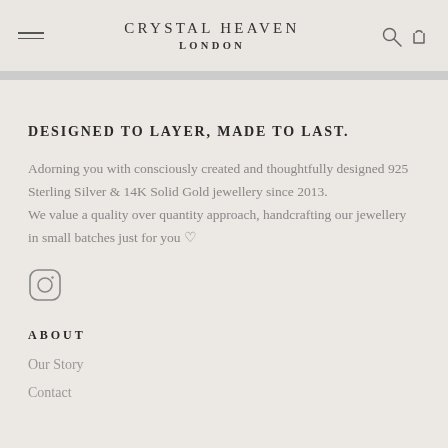CRYSTAL HEAVEN
LONDON
DESIGNED TO LAYER, MADE TO LAST.
Adorning you with consciously created and thoughtfully designed 925 Sterling Silver & 14K Solid Gold jewellery since 2013.
We value a quality over quantity approach, handcrafting our jewellery in small batches just for you ♡
[Figure (logo): Instagram icon - circle with rounded square camera outline]
ABOUT
Our Story
Contact